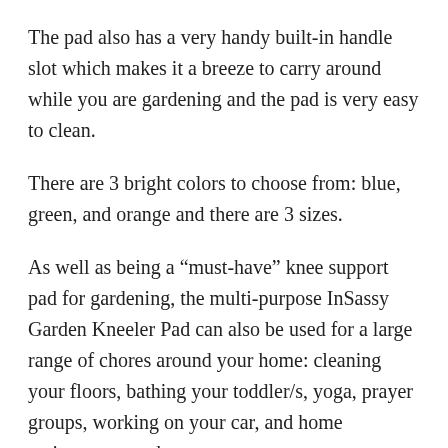The pad also has a very handy built-in handle slot which makes it a breeze to carry around while you are gardening and the pad is very easy to clean.
There are 3 bright colors to choose from: blue, green, and orange and there are 3 sizes.
As well as being a “must-have” knee support pad for gardening, the multi-purpose InSassy Garden Kneeler Pad can also be used for a large range of chores around your home: cleaning your floors, bathing your toddler/s, yoga, prayer groups, working on your car, and home maintenance tasks.
[Figure (other): Social sharing buttons row: Facebook (blue f), Pinterest (red P), Twitter (blue bird), Email (yellow envelope)]
F…s